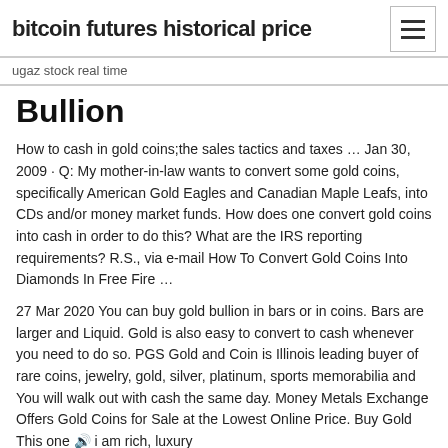bitcoin futures historical price
ugaz stock real time
Bullion
How to cash in gold coins;the sales tactics and taxes … Jan 30, 2009 · Q: My mother-in-law wants to convert some gold coins, specifically American Gold Eagles and Canadian Maple Leafs, into CDs and/or money market funds. How does one convert gold coins into cash in order to do this? What are the IRS reporting requirements? R.S., via e-mail How To Convert Gold Coins Into Diamonds In Free Fire …
27 Mar 2020 You can buy gold bullion in bars or in coins. Bars are larger and Liquid. Gold is also easy to convert to cash whenever you need to do so. PGS Gold and Coin is Illinois leading buyer of rare coins, jewelry, gold, silver, platinum, sports memorabilia and You will walk out with cash the same day. Money Metals Exchange Offers Gold Coins for Sale at the Lowest Online Price. Buy Gold This one i am rich, luxury